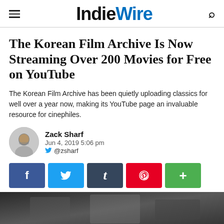IndieWire
The Korean Film Archive Is Now Streaming Over 200 Movies for Free on YouTube
The Korean Film Archive has been quietly uploading classics for well over a year now, making its YouTube page an invaluable resource for cinephiles.
Zack Sharf
Jun 4, 2019 5:06 pm
@zsharf
[Figure (infographic): Social share buttons: Facebook, Twitter, Tumblr, Pinterest, More]
[Figure (photo): Grayscale film still at bottom of article]